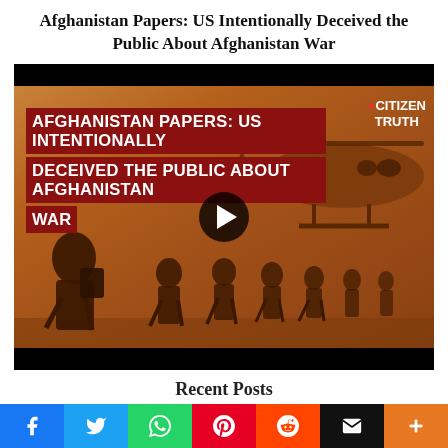Afghanistan Papers: US Intentionally Deceived the Public About Afghanistan War
[Figure (screenshot): Video thumbnail showing soldiers running toward a military helicopter (Chinook) with text overlay 'AFGHANISTAN PAPERS: US INTENTIONALLY DECEIVED THE PUBLIC ABOUT AFGHANISTAN WAR' on a dark red background, with Citizen Truth logo in top right and a play button in the center. Black bars at top and bottom of the thumbnail.]
Recent Posts
[Figure (infographic): Social media share bar at bottom with buttons for Facebook (blue), Twitter (light blue), WhatsApp (green), Pinterest (red), Reddit (orange-red), Email (black), and a plus/more button (orange).]